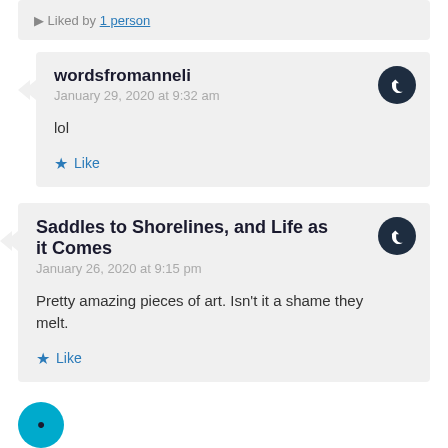Liked by 1 person
wordsfromanneli
January 29, 2020 at 9:32 am

lol

★ Like
Saddles to Shorelines, and Life as it Comes
January 26, 2020 at 9:15 pm

Pretty amazing pieces of art. Isn't it a shame they melt.

★ Like